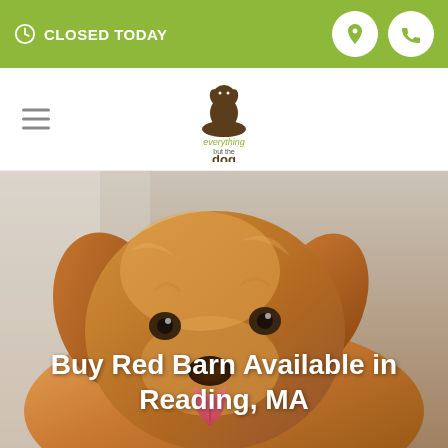CLOSED TODAY
[Figure (logo): Everything But The Dog logo with dog sitting on a bowl]
[Figure (photo): Golden retriever dog looking at camera with tongue out, hero image background]
Buy Red Barn Available in Reading, MA